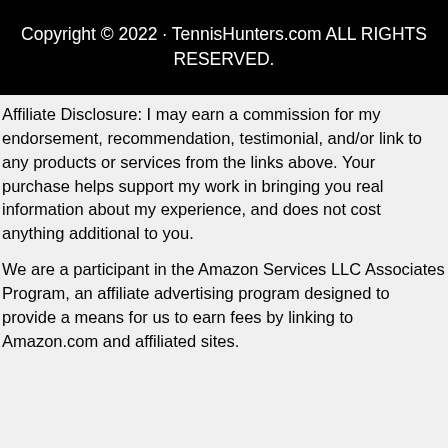Copyright © 2022 · TennisHunters.com ALL RIGHTS RESERVED.
Affiliate Disclosure: I may earn a commission for my endorsement, recommendation, testimonial, and/or link to any products or services from the links above. Your purchase helps support my work in bringing you real information about my experience, and does not cost anything additional to you.
We are a participant in the Amazon Services LLC Associates Program, an affiliate advertising program designed to provide a means for us to earn fees by linking to Amazon.com and affiliated sites.